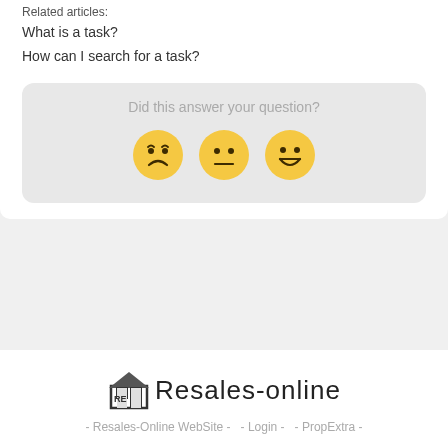Related articles:
What is a task?
How can I search for a task?
[Figure (infographic): Feedback widget with question 'Did this answer your question?' and three emoji faces: disappointed, neutral, and happy]
[Figure (logo): Resales-Online logo with house icon and stylized text 'ReSales-Online']
- Resales-Online WebSite -  - Login -  - PropExtra -